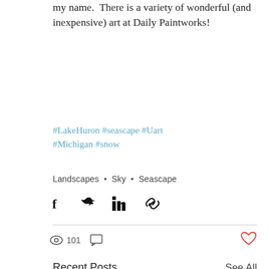my name.  There is a variety of wonderful (and inexpensive) art at Daily Paintworks!
#LakeHuron #seascape #Uart #Michigan #snow
Landscapes  •  Sky  •  Seascape
[Figure (infographic): Social share buttons: Facebook, Twitter, LinkedIn, Link icons]
101
Recent Posts
See All
[Figure (photo): Three thumbnail images at the bottom of the page showing recent posts]